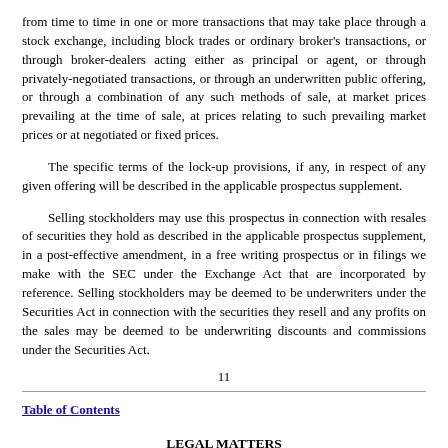from time to time in one or more transactions that may take place through a stock exchange, including block trades or ordinary broker's transactions, or through broker-dealers acting either as principal or agent, or through privately-negotiated transactions, or through an underwritten public offering, or through a combination of any such methods of sale, at market prices prevailing at the time of sale, at prices relating to such prevailing market prices or at negotiated or fixed prices.
The specific terms of the lock-up provisions, if any, in respect of any given offering will be described in the applicable prospectus supplement.
Selling stockholders may use this prospectus in connection with resales of securities they hold as described in the applicable prospectus supplement, in a post-effective amendment, in a free writing prospectus or in filings we make with the SEC under the Exchange Act that are incorporated by reference. Selling stockholders may be deemed to be underwriters under the Securities Act in connection with the securities they resell and any profits on the sales may be deemed to be underwriting discounts and commissions under the Securities Act.
11
Table of Contents
LEGAL MATTERS
Unless otherwise indicated in the applicable prospectus supplement, the validity of any securities offered hereby will be passed upon by Wilson Sonsini